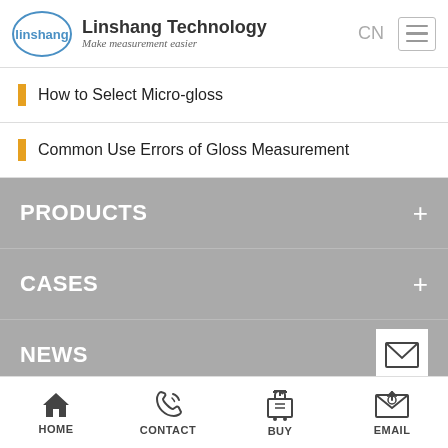Linshang Technology — Make measurement easier
How to Select Micro-gloss
Common Use Errors of Gloss Measurement
PRODUCTS
CASES
NEWS
TECHNOLOGY
HOME  CONTACT  BUY  EMAIL